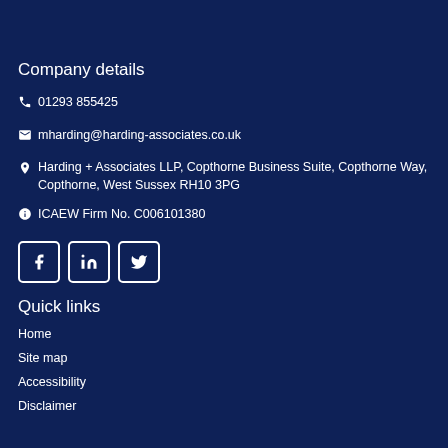Company details
01293 855425
mharding@harding-associates.co.uk
Harding + Associates LLP, Copthorne Business Suite, Copthorne Way, Copthorne, West Sussex RH10 3PG
ICAEW Firm No. C006101380
[Figure (infographic): Three social media icon buttons: Facebook, LinkedIn, Twitter, each in a rounded square border]
Quick links
Home
Site map
Accessibility
Disclaimer